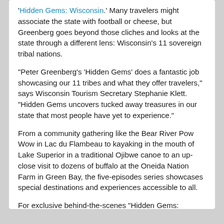'Hidden Gems: Wisconsin.' Many travelers might associate the state with football or cheese, but Greenberg goes beyond those cliches and looks at the state through a different lens: Wisconsin's 11 sovereign tribal nations.
"Peter Greenberg's 'Hidden Gems' does a fantastic job showcasing our 11 tribes and what they offer travelers," says Wisconsin Tourism Secretary Stephanie Klett. "Hidden Gems uncovers tucked away treasures in our state that most people have yet to experience."
From a community gathering like the Bear River Pow Wow in Lac du Flambeau to kayaking in the mouth of Lake Superior in a traditional Ojibwe canoe to an up-close visit to dozens of buffalo at the Oneida Nation Farm in Green Bay, the five-episodes series showcases special destinations and experiences accessible to all.
For exclusive behind-the-scenes "Hidden Gems: Wisconsin" photos and more, follow Peter Greenberg on Facebook (facebook.com/PeterGreenbergWorldwide), Twitter (@PeterSGreenberg), Google+ (google.com/+PeterGreenberg) and Pinterest (pinterest.com/petergreenberg/).